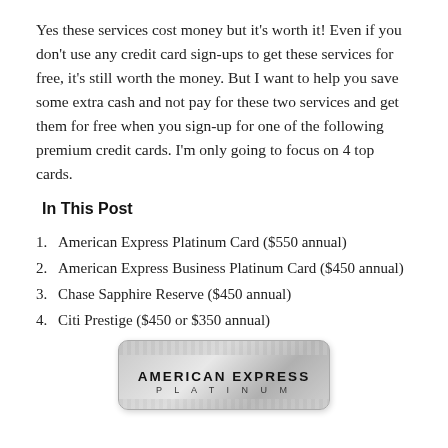Yes these services cost money but it's worth it!  Even if you don't use any credit card sign-ups to get these services for free, it's still worth the money. But I want to help you save some extra cash and not pay for these two services and get them for free when you sign-up for one of the following premium credit cards.  I'm only going to focus on 4 top cards.
In This Post
1. American Express Platinum Card ($550 annual)
2. American Express Business Platinum Card ($450 annual)
3. Chase Sapphire Reserve ($450 annual)
4. Citi Prestige ($450 or $350 annual)
[Figure (photo): American Express Platinum card image showing the card face with 'AMERICAN EXPRESS PLATINUM' text and decorative border pattern]